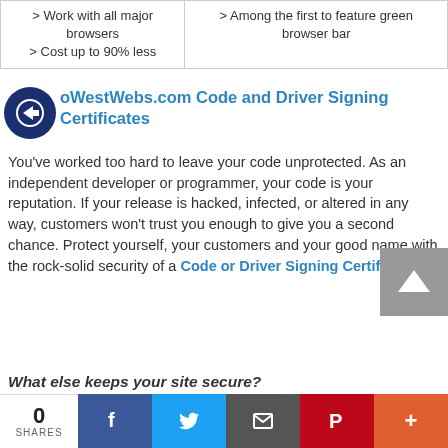| > Work with all major browsers
> Cost up to 90% less | > Among the first to feature green browser bar |
GoWestWebs.com Code and Driver Signing Certificate
s You've worked too hard to leave your code unprotected. As an independent developer or programmer, your code is your reputation. If your release is hacked, infected, or altered in any way, customers won't trust you enough to give you a second chance. Protect yourself, your customers and your good name with the rock-solid security of a Code or Driver Signing Certificate.
What else keeps your site secure?
[Figure (other): Social share bar with 0 shares count, Facebook, Twitter, Email, Pinterest, and More buttons]